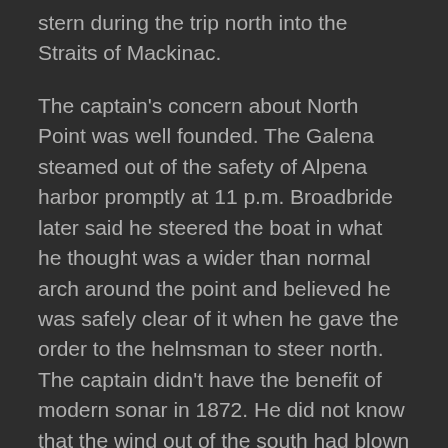stern during the trip north into the Straits of Mackinac.
The captain's concern about North Point was well founded. The Galena steamed out of the safety of Alpena harbor promptly at 11 p.m. Broadbride later said he steered the boat in what he thought was a wider than normal arch around the point and believed he was safely clear of it when he gave the order to the helmsman to steer north. The captain didn't have the benefit of modern sonar in 1872. He did not know that the wind out of the south had blown his command farther off course than he believed possible. By midnight the vessel was hard aground on the outer reef, about a mile and a half from shore.
The 193-foot-long wooden propeller slammed into the rocks with a sudden jolt that threw passengers from their bunks and scattered the cargo in the hold.